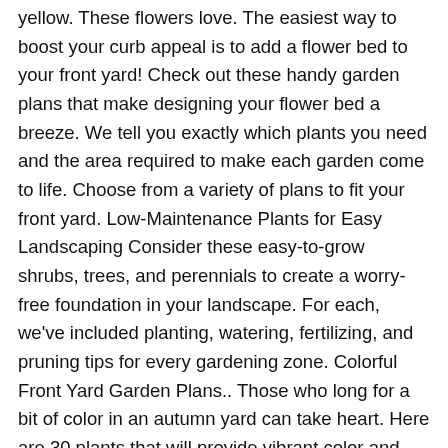yellow. These flowers love. The easiest way to boost your curb appeal is to add a flower bed to your front yard! Check out these handy garden plans that make designing your flower bed a breeze. We tell you exactly which plants you need and the area required to make each garden come to life. Choose from a variety of plans to fit your front yard. Low-Maintenance Plants for Easy Landscaping Consider these easy-to-grow shrubs, trees, and perennials to create a worry-free foundation in your landscape. For each, we've included planting, watering, fertilizing, and pruning tips for every gardening zone. Colorful Front Yard Garden Plans.. Those who long for a bit of color in an autumn yard can take heart. Here are 30 plants that will provide vibrant color and visual interest in your autumn landscape, even as cooler fall days give way...